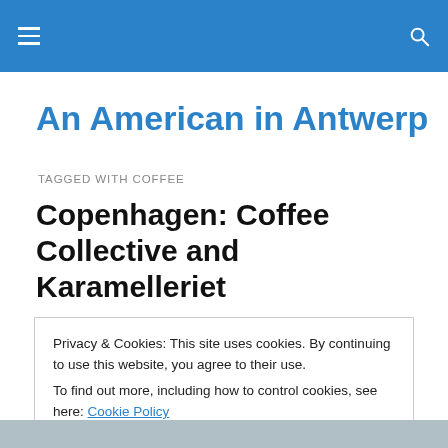An American in Antwerp — navigation header
An American in Antwerp
TAGGED WITH COFFEE
Copenhagen: Coffee Collective and Karamelleriet
Privacy & Cookies: This site uses cookies. By continuing to use this website, you agree to their use.
To find out more, including how to control cookies, see here: Cookie Policy
Close and accept